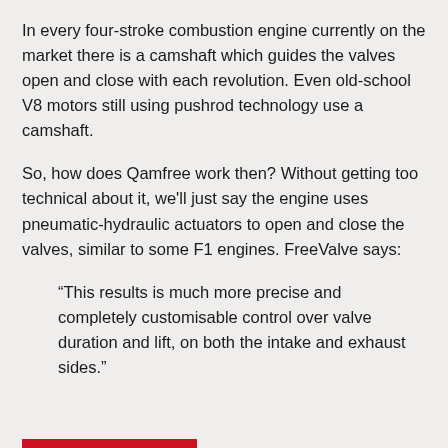In every four-stroke combustion engine currently on the market there is a camshaft which guides the valves open and close with each revolution. Even old-school V8 motors still using pushrod technology use a camshaft.
So, how does Qamfree work then? Without getting too technical about it, we'll just say the engine uses pneumatic-hydraulic actuators to open and close the valves, similar to some F1 engines. FreeValve says:
“This results is much more precise and completely customisable control over valve duration and lift, on both the intake and exhaust sides.”